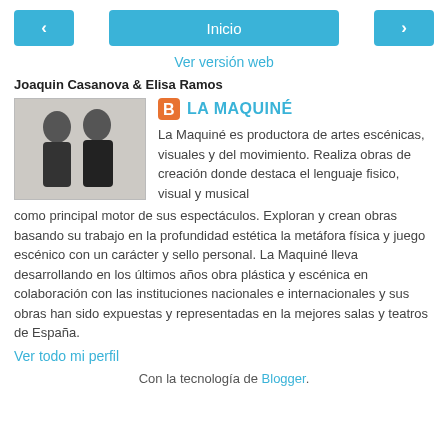< | Inicio | >
Ver versión web
Joaquin Casanova & Elisa Ramos
[Figure (photo): Photo of two people (a woman and a man) against a light background]
LA MAQUINÉ
La Maquiné es productora de artes escénicas, visuales y del movimiento. Realiza obras de creación donde destaca el lenguaje fisico, visual y musical como principal motor de sus espectáculos. Exploran y crean obras basando su trabajo en la profundidad estética la metáfora física y juego escénico con un carácter y sello personal. La Maquiné lleva desarrollando en los últimos años obra plástica y escénica en colaboración con las instituciones nacionales e internacionales y sus obras han sido expuestas y representadas en la mejores salas y teatros de España.
Ver todo mi perfil
Con la tecnología de Blogger.